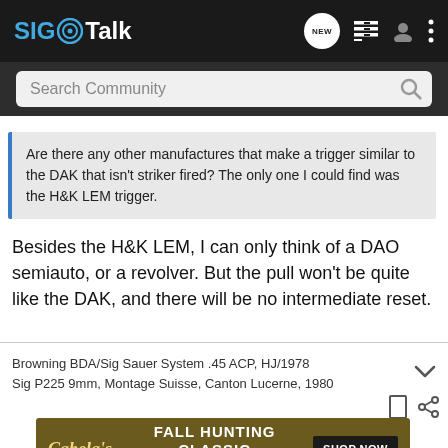SIG Talk
Search Community
Are there any other manufactures that make a trigger similar to the DAK that isn't striker fired? The only one I could find was the H&K LEM trigger.
Besides the H&K LEM, I can only think of a DAO semiauto, or a revolver. But the pull won't be quite like the DAK, and there will be no intermediate reset.
Browning BDA/Sig Sauer System .45 ACP, HJ/1978
Sig P225 9mm, Montage Suisse, Canton Lucerne, 1980
[Figure (other): Cabela's Fall Hunting Classic advertisement banner: FALL HUNTING CLASSIC SAVE UP TO 30% SHOP NOW]